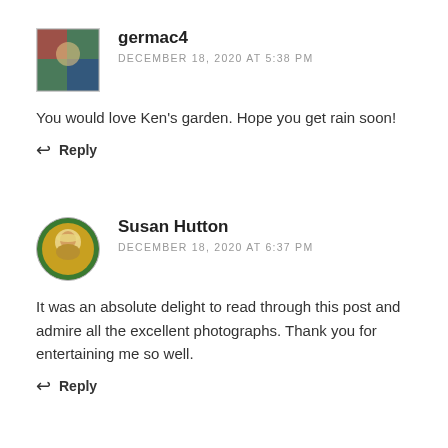[Figure (photo): Small square avatar photo of germac4 user, showing a person outdoors with green and red tones]
germac4
DECEMBER 18, 2020 AT 5:38 PM
You would love Ken's garden. Hope you get rain soon!
Reply
[Figure (photo): Circular avatar image of Susan Hutton showing a Byzantine mosaic style portrait of a saint with golden halo on green background]
Susan Hutton
DECEMBER 18, 2020 AT 6:37 PM
It was an absolute delight to read through this post and admire all the excellent photographs. Thank you for entertaining me so well.
Reply